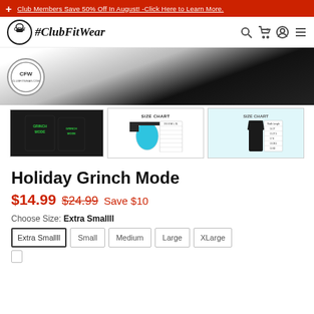Club Members Save 50% Off In August! -Click Here to Learn More.
[Figure (logo): CFW #ClubFitWear logo with kettlebell icon, search, cart, account, and menu icons in navigation bar]
[Figure (photo): Main product image showing black fabric/garment on white background with CFW logo watermark]
[Figure (photo): Three product thumbnails: 1) Holiday Grinch Mode t-shirt and tank top in black with green text, 2) Size chart for t-shirt, 3) Size chart for tank top]
Holiday Grinch Mode
$14.99 $24.99 Save $10
Choose Size: Extra Smallll
Extra Smallll  Small  Medium  Large  XLarge